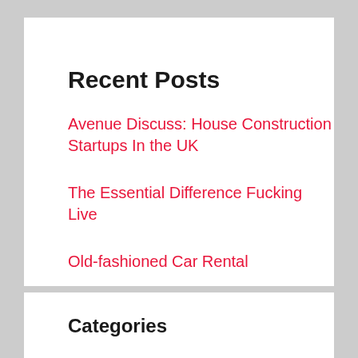Recent Posts
Avenue Discuss: House Construction Startups In the UK
The Essential Difference Fucking Live
Old-fashioned Car Rental
Expat Jobs In Vietnam Is Your Best Guess To Develop
Life, Dying, And Online Casino
Categories